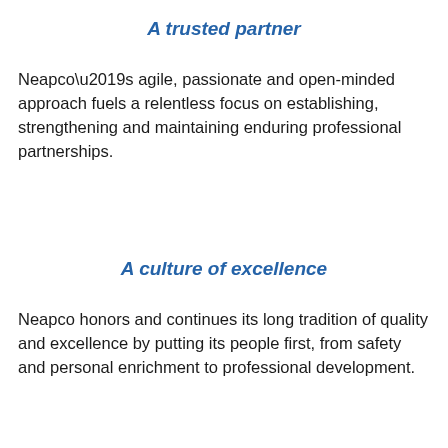A trusted partner
Neapco’s agile, passionate and open-minded approach fuels a relentless focus on establishing, strengthening and maintaining enduring professional partnerships.
A culture of excellence
Neapco honors and continues its long tradition of quality and excellence by putting its people first, from safety and personal enrichment to professional development.